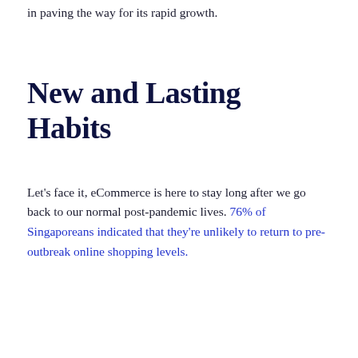in paving the way for its rapid growth.
New and Lasting Habits
Let's face it, eCommerce is here to stay long after we go back to our normal post-pandemic lives. 76% of Singaporeans indicated that they're unlikely to return to pre-outbreak online shopping levels.